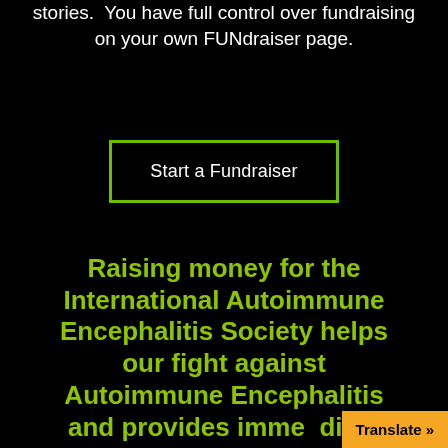stories.  You have full control over fundraising on your own FUNdraiser page.
Start a Fundraiser
Raising money for the International Autoimmune Encephalitis Society helps our fight against Autoimmune Encephalitis and provides immediate support to patie...
Translate »